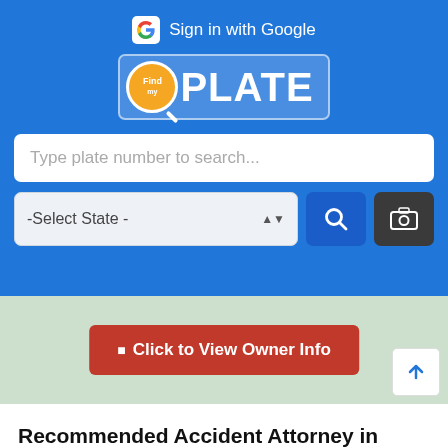[Figure (screenshot): FindPlate app header with Sign in with Google button, FindPlate logo, search input for plate number, state selector dropdown, search button, and camera button on a blue background]
[Figure (screenshot): Map section with light green background showing a red 'Click to View Owner Info' button and a scroll-to-top arrow button]
Recommended Accident Attorney in Tennessee